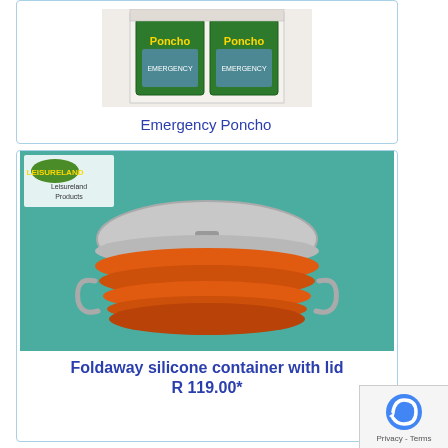[Figure (photo): Emergency Poncho product display — a box of multiple emergency poncho packages visible from above]
Emergency Poncho
[Figure (photo): Foldaway silicone container with grey lid sitting on a teal background, with Leisureland Products logo in top left]
Foldaway silicone container with lid
R 119.00*